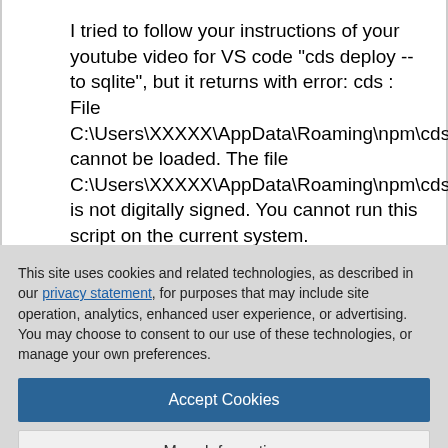I tried to follow your instructions of your youtube video for VS code "cds deploy --to sqlite", but it returns with error: cds : File C:\Users\XXXXX\AppData\Roaming\npm\cds.ps1 cannot be loaded. The file C:\Users\XXXXX\AppData\Roaming\npm\cds.ps1 is not digitally signed. You cannot run this script on the current system.
This site uses cookies and related technologies, as described in our privacy statement, for purposes that may include site operation, analytics, enhanced user experience, or advertising. You may choose to consent to our use of these technologies, or manage your own preferences.
Accept Cookies
More Information
Privacy Policy | Powered by: TrustArc